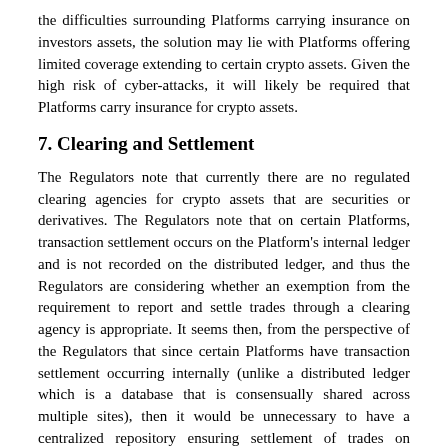the difficulties surrounding Platforms carrying insurance on investors assets, the solution may lie with Platforms offering limited coverage extending to certain crypto assets. Given the high risk of cyber-attacks, it will likely be required that Platforms carry insurance for crypto assets.
7. Clearing and Settlement
The Regulators note that currently there are no regulated clearing agencies for crypto assets that are securities or derivatives. The Regulators note that on certain Platforms, transaction settlement occurs on the Platform's internal ledger and is not recorded on the distributed ledger, and thus the Regulators are considering whether an exemption from the requirement to report and settle trades through a clearing agency is appropriate. It seems then, from the perspective of the Regulators that since certain Platforms have transaction settlement occurring internally (unlike a distributed ledger which is a database that is consensually shared across multiple sites), then it would be unnecessary to have a centralized repository ensuring settlement of trades on internally settled transactions. The Regulators do however note that some Platforms operate on a decentralized model where transfer of crypto assets is between two parties on a blockchain protocol, which would require some form of